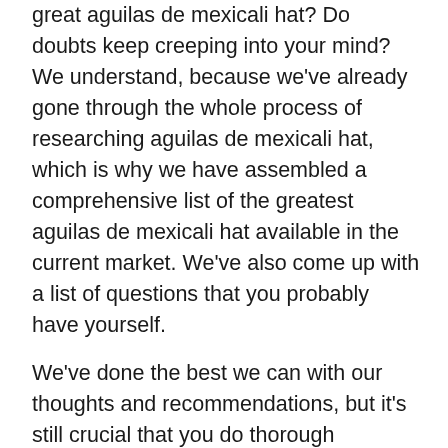great aguilas de mexicali hat? Do doubts keep creeping into your mind? We understand, because we've already gone through the whole process of researching aguilas de mexicali hat, which is why we have assembled a comprehensive list of the greatest aguilas de mexicali hat available in the current market. We've also come up with a list of questions that you probably have yourself.
We've done the best we can with our thoughts and recommendations, but it's still crucial that you do thorough research on your own for aguilas de mexicali hat that you consider buying. Your questions might include the following:
Is it worth buying an aguilas de mexicali hat?
What benefits are there with buying an aguilas de mexicali hat?
What factors deserve consideration when shopping for an effective aguilas de mexicali hat?